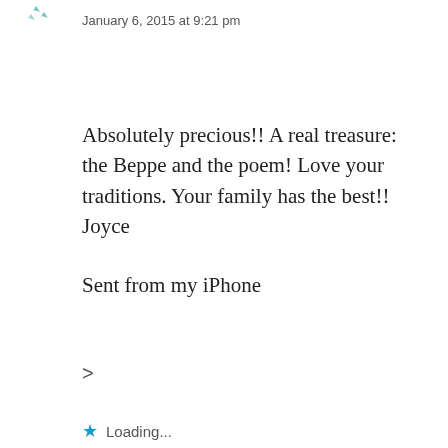[Figure (illustration): Small avatar/icon with decorative star shapes, partially visible at top left]
January 6, 2015 at 9:21 pm
Absolutely precious!! A real treasure: the Beppe and the poem! Love your traditions. Your family has the best!! Joyce
Sent from my iPhone
>
★ Loading...
Reply
Michelle